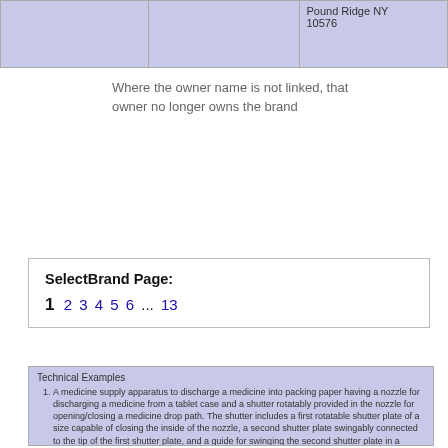|  |  |  |
| --- | --- | --- |
|  |  | Pound Ridge NY
10576 |
Where the owner name is not linked, that owner no longer owns the brand
SelectBrand Page:
1 2 3 4 5 6 ... 13
Technical Examples
A medicine supply apparatus to discharge a medicine into packing paper having a nozzle for discharging a medicine from a tablet case and a shutter rotatably provided in the nozzle for opening/closing a medicine drop path. The shutter includes a first rotatable shutter plate of a size capable of closing the inside of the nozzle, a second shutter plate swingably connected to the tip of the first shutter plate, and a guide for swinging the second shutter plate in a direction opposite to the direction of rotation of the first shutter plate in a final stage of the medicine discharge while the first shutter plate is opened. The tip of the second shutter plate is located in a position to narrow an outlet of the medicine drop path when the first shutter plate is opened.